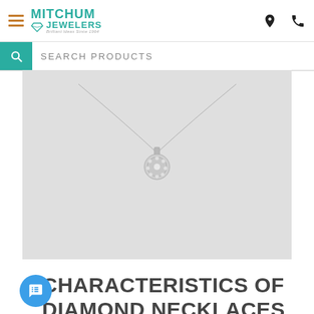Mitchum Jewelers
SEARCH PRODUCTS
[Figure (photo): Diamond pendant necklace with circular cluster setting on a thin chain, displayed against a light gray background]
CHARACTERISTICS OF DIAMOND NECKLACES